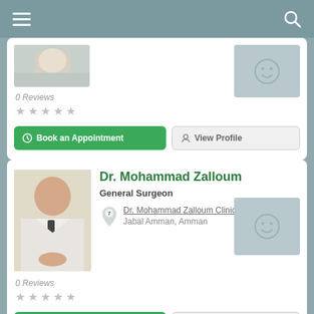[Figure (screenshot): Mobile app top navigation bar with hamburger menu icon on left and search icon on right]
[Figure (photo): Partially visible doctor photo (cropped at top)]
0 Reviews
[Figure (other): 5 empty star rating]
Book an Appointment
View Profile
Dr. Mohammad Zalloum
General Surgeon
Dr. Mohammad Zalloum Clinic
Jabal Amman, Amman
0 Reviews
[Figure (other): 5 empty star rating]
Book an Appointment
View Profile